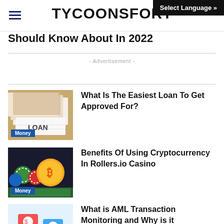TYCOONSFORT | Select Language »
Should Know About In 2022
- Advertisement -
What Is The Easiest Loan To Get Approved For?
Benefits Of Using Cryptocurrency In Rollers.io Casino
What is AML Transaction Monitoring and Why is it important?